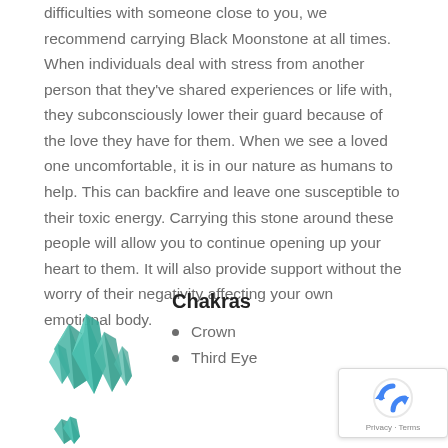difficulties with someone close to you, we recommend carrying Black Moonstone at all times. When individuals deal with stress from another person that they've shared experiences or life with, they subconsciously lower their guard because of the love they have for them. When we see a loved one uncomfortable, it is in our nature as humans to help. This can backfire and leave one susceptible to their toxic energy. Carrying this stone around these people will allow you to continue opening up your heart to them. It will also provide support without the worry of their negativity affecting your own emotional body.
[Figure (illustration): Teal/turquoise geometric crystal cluster illustration]
Chakras
Crown
Third Eye
[Figure (other): Google reCAPTCHA badge with Privacy and Terms links]
[Figure (illustration): Partial teal/turquoise geometric crystal cluster illustration at bottom]